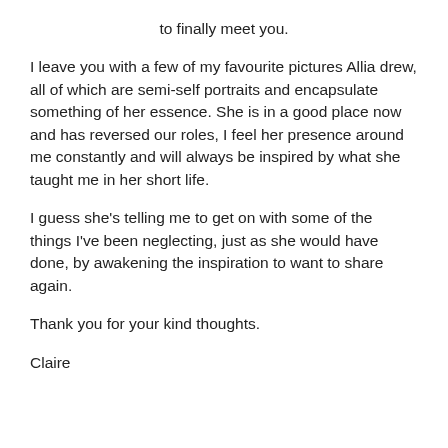to finally meet you.
I leave you with a few of my favourite pictures Allia drew, all of which are semi-self portraits and encapsulate something of her essence. She is in a good place now and has reversed our roles, I feel her presence around me constantly and will always be inspired by what she taught me in her short life.
I guess she's telling me to get on with some of the things I've been neglecting, just as she would have done, by awakening the inspiration to want to share again.
Thank you for your kind thoughts.
Claire